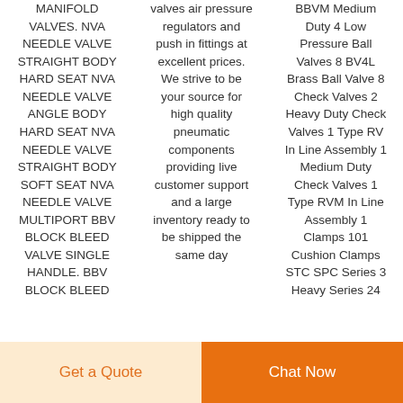MANIFOLD VALVES. NVA NEEDLE VALVE STRAIGHT BODY HARD SEAT NVA NEEDLE VALVE ANGLE BODY HARD SEAT NVA NEEDLE VALVE STRAIGHT BODY SOFT SEAT NVA NEEDLE VALVE MULTIPORT BBV BLOCK BLEED VALVE SINGLE HANDLE. BBV BLOCK BLEED
valves air pressure regulators and push in fittings at excellent prices. We strive to be your source for high quality pneumatic components providing live customer support and a large inventory ready to be shipped the same day
BBVM Medium Duty 4 Low Pressure Ball Valves 8 BV4L Brass Ball Valve 8 Check Valves 2 Heavy Duty Check Valves 1 Type RV In Line Assembly 1 Medium Duty Check Valves 1 Type RVM In Line Assembly 1 Clamps 101 Cushion Clamps STC SPC Series 3 Heavy Series 24
(partial text cut off at bottom)
Get a Quote
Chat Now